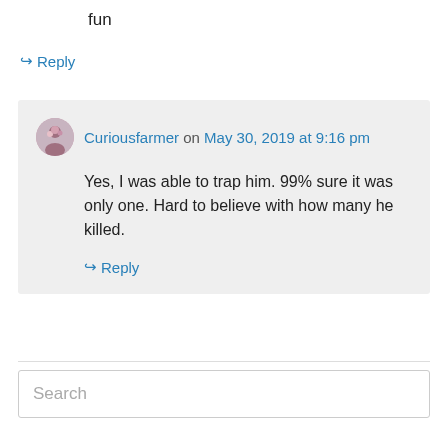fun
↪ Reply
Curiousfarmer on May 30, 2019 at 9:16 pm
Yes, I was able to trap him. 99% sure it was only one. Hard to believe with how many he killed.
↪ Reply
Search